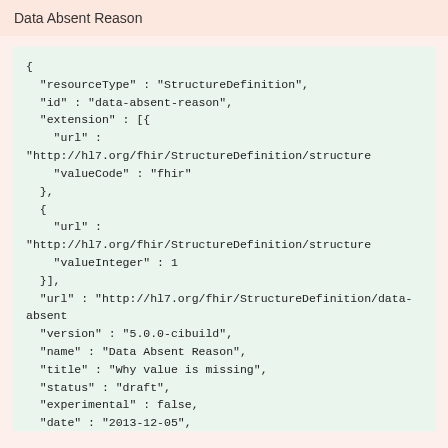Data Absent Reason
{
  "resourceType" : "StructureDefinition",
  "id" : "data-absent-reason",
  "extension" : [{
    "url" : "http://hl7.org/fhir/StructureDefinition/structure
    "valueCode" : "fhir"
  },
  {
    "url" : "http://hl7.org/fhir/StructureDefinition/structure
    "valueInteger" : 1
  }],
  "url" : "http://hl7.org/fhir/StructureDefinition/data-absent
  "version" : "5.0.0-cibuild",
  "name" : "Data Absent Reason",
  "title" : "Why value is missing",
  "status" : "draft",
  "experimental" : false,
  "date" : "2013-12-05",
  "publisher" : "Health Level Seven International (FHIR Infra
  "contact" : [{
    "telecom" : [{
      "system" : "url",
      "value" : "http://www.hl7.org/Special/committees/fiwg"
    }]
  }],